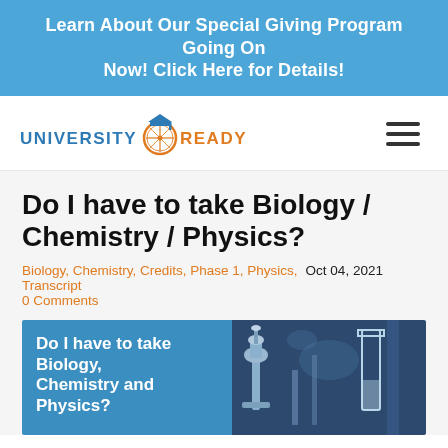Learn About Our Special Giving Program Going On Now! Click Here for Details!
[Figure (logo): University Ready logo with graduation cap and compass icon]
Do I have to take Biology / Chemistry / Physics?
Biology, Chemistry, Credits, Phase 1, Physics, Transcript   Oct 04, 2021   0 Comments
[Figure (photo): Featured image split: left blue panel with text 'Do I have to take Biology, Chemistry and Physics?', right panel showing laboratory microscope and flask photo]